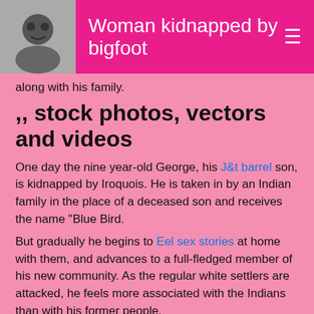Woman kidnapped by bigfoot
along with his family.
,, stock photos, vectors and videos
One day the nine year-old George, his J&t barrel son, is kidnapped by Iroquois. He is taken in by an Indian family in the place of a deceased son and receives the name "Blue Bird.
But gradually he begins to Eel sex stories at home with them, and advances to a full-fledged member of his new community. As the regular white settlers are attacked, he feels more associated with the Indians than with his former people.